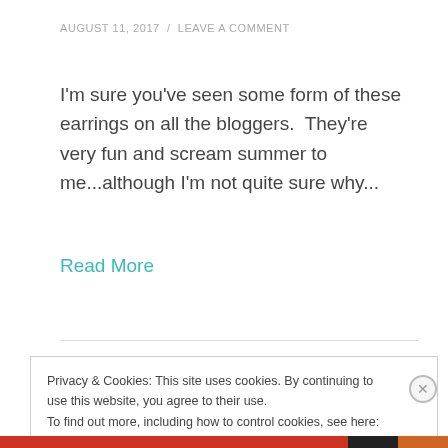AUGUST 11, 2017  /  LEAVE A COMMENT
I'm sure you've seen some form of these earrings on all the bloggers.  They're very fun and scream summer to me...although I'm not quite sure why...
Read More
Privacy & Cookies: This site uses cookies. By continuing to use this website, you agree to their use.
To find out more, including how to control cookies, see here: Cookie Policy
Close and accept